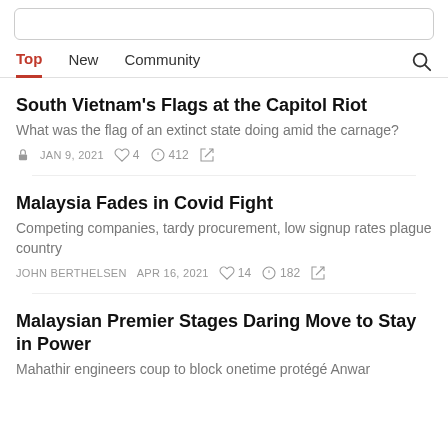Top | New | Community
South Vietnam's Flags at the Capitol Riot
What was the flag of an extinct state doing amid the carnage?
🔒 JAN 9, 2021  ♡ 4  💬 412  ↗
Malaysia Fades in Covid Fight
Competing companies, tardy procurement, low signup rates plague country
JOHN BERTHELSEN  APR 16, 2021  ♡ 14  💬 182  ↗
Malaysian Premier Stages Daring Move to Stay in Power
Mahathir engineers coup to block onetime protégé Anwar